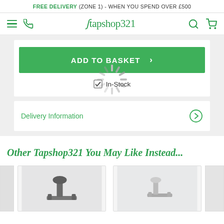FREE DELIVERY (ZONE 1) - WHEN YOU SPEND OVER £500
[Figure (screenshot): Tapshop321 website header with hamburger menu, phone icon, logo, search and cart icons]
ADD TO BASKET >
☑ In-Stock
Delivery Information >
[Figure (infographic): Loading spinner overlay on the delivery information area]
Other Tapshop321 You May Like Instead...
[Figure (photo): Product image showing a black tap/faucet]
[Figure (photo): Product image showing a chrome tap/faucet]